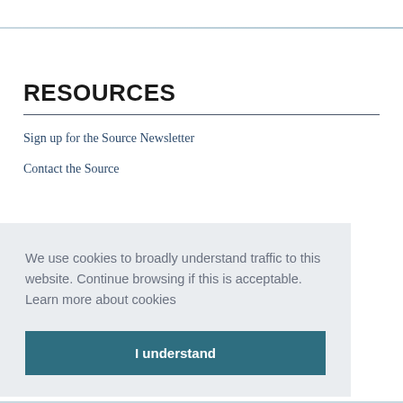RESOURCES
Sign up for the Source Newsletter
Contact the Source
We use cookies to broadly understand traffic to this website. Continue browsing if this is acceptable.  Learn more about cookies
I understand